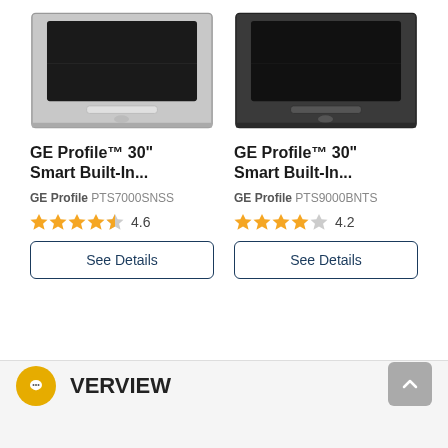[Figure (photo): GE Profile 30 inch Smart Built-In oven, stainless steel finish, model PTS7000SNSS]
GE Profile™ 30"
Smart Built-In...
GE Profile PTS7000SNSS
[Figure (other): Star rating: 4.6 out of 5 stars]
See Details
[Figure (photo): GE Profile 30 inch Smart Built-In oven, black stainless finish, model PTS9000BNTS]
GE Profile™ 30"
Smart Built-In...
GE Profile PTS9000BNTS
[Figure (other): Star rating: 4.2 out of 5 stars]
See Details
VERVIEW